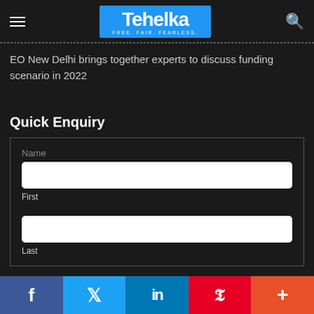Tehelka — FREE. FAIR. FEARLESS.
EO New Delhi brings together experts to discuss funding scenario in 2022
Quick Enquiry
Name — First field input
Last field input
f  Twitter  in  Pinterest  +